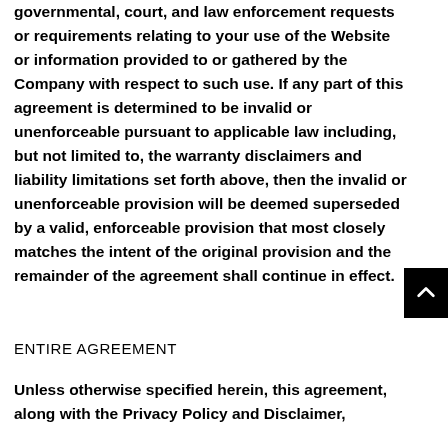governmental, court, and law enforcement requests or requirements relating to your use of the Website or information provided to or gathered by the Company with respect to such use. If any part of this agreement is determined to be invalid or unenforceable pursuant to applicable law including, but not limited to, the warranty disclaimers and liability limitations set forth above, then the invalid or unenforceable provision will be deemed superseded by a valid, enforceable provision that most closely matches the intent of the original provision and the remainder of the agreement shall continue in effect.
ENTIRE AGREEMENT
Unless otherwise specified herein, this agreement, along with the Privacy Policy and Disclaimer,